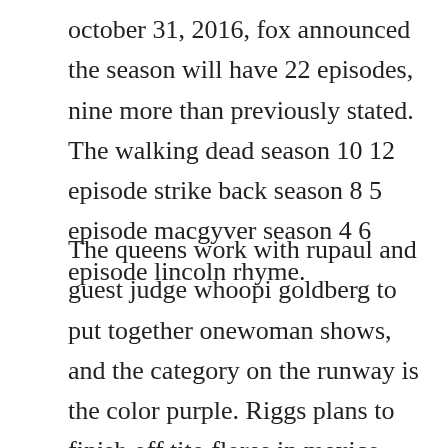october 31, 2016, fox announced the season will have 22 episodes, nine more than previously stated. The walking dead season 10 12 episode strike back season 8 5 episode macgyver season 4 6 episode lincoln rhyme.
The queens work with rupaul and guest judge whoopi goldberg to put together onewoman shows, and the category on the runway is the color purple. Riggs plans to finish off tito flores in mexico where murtaugh follows him. Case 1 has season 1, 4 discs, which divide episodes 1 27 amongst them. Called in by